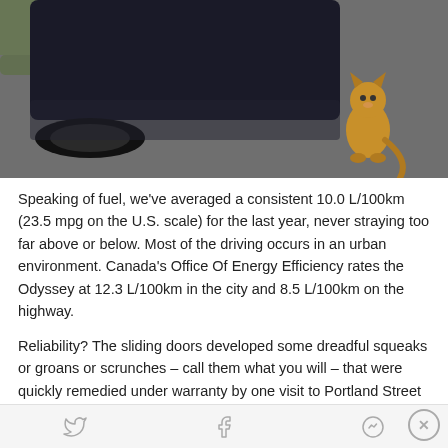[Figure (photo): Overhead view of a dark car body/wheel with a golden dog or cat sitting on wet pavement beside it, grass visible in upper left corner]
Speaking of fuel, we've averaged a consistent 10.0 L/100km (23.5 mpg on the U.S. scale) for the last year, never straying too far above or below. Most of the driving occurs in an urban environment. Canada's Office Of Energy Efficiency rates the Odyssey at 12.3 L/100km in the city and 8.5 L/100km on the highway.
Reliability? The sliding doors developed some dreadful squeaks or groans or scrunches – call them what you will – that were quickly remedied under warranty by one visit to Portland Street Honda. There have been no other issues besides a recall which required changing
Social sharing icons (Twitter, Facebook, Messenger) and close button